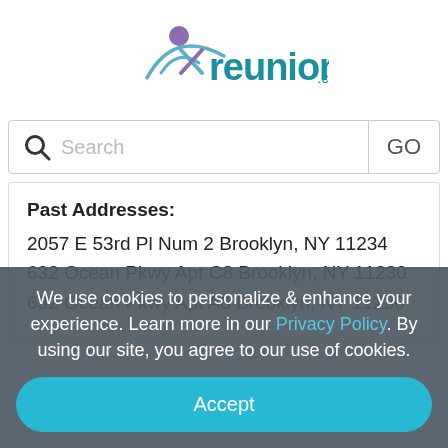[Figure (logo): reunion.com logo with teal text and purple/blue figure icon]
Search GO
Past Addresses:
2057 E 53rd Pl Num 2 Brooklyn, NY 11234
632 Ocean Pkwy Apt C8 Brooklyn, NY 11230
632 Ocean Pkwy Apt A8 Brooklyn, NY 11230
We use cookies to personalize & enhance your experience. Learn more in our Privacy Policy. By using our site, you agree to our use of cookies.
Accept